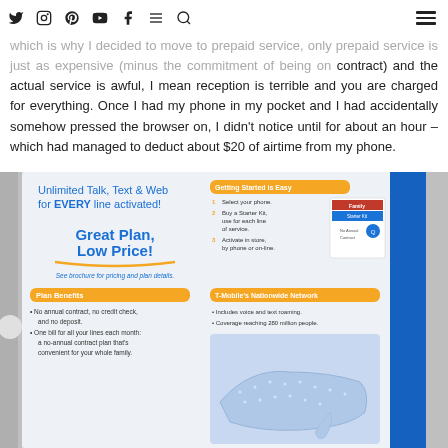Social media icons: Twitter, Instagram, Pinterest, YouTube, Facebook, Menu, Search, Hamburger menu
which is why I decided to move to prepaid service, only prepaid service is just as expensive (minus the commitment of being on contract) and the actual service is awful, I mean reception is terrible and you are charged for everything. Once I had my phone in my pocket and I had accidentally somehow pressed the browser on, I didn't notice until for about an hour – which had managed to deduct about $20 of airtime from my phone.
[Figure (photo): Photo of a T-Mobile prepaid brochure showing 'Unlimited Talk, Text & Web for EVERY line activated! Great Plan, Low Price!' with sections for Getting Started is Easy, Plan Benefits, and T-Mobile's Nationwide Network.]